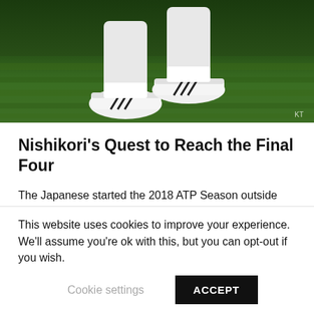[Figure (photo): A tennis player's legs and white Adidas sneakers on a green grass court, viewed from behind/side with dark green wall in background. Photo credit: KT]
Nishikori's Quest to Reach the Final Four
The Japanese started the 2018 ATP Season outside the top 20 but has done a brilliant job of breaking into the top 10. Interestingly, he earlier missed out on qualifying for the ATP Finals by a small margin but Rafael Nadal's withdrawal paved way for the Japanese.
Nishikori hasn't won a singles title since 2016. However, despite this dearth of ATP singles titles, he did just enough
This website uses cookies to improve your experience. We'll assume you're ok with this, but you can opt-out if you wish.
Cookie settings    ACCEPT